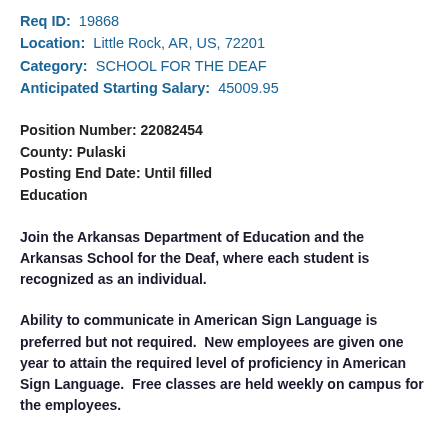Req ID: 19868
Location: Little Rock, AR, US, 72201
Category: SCHOOL FOR THE DEAF
Anticipated Starting Salary: 45009.95
Position Number: 22082454
County: Pulaski
Posting End Date: Until filled
Education
Join the Arkansas Department of Education and the Arkansas School for the Deaf, where each student is recognized as an individual.
Ability to communicate in American Sign Language is preferred but not required.  New employees are given one year to attain the required level of proficiency in American Sign Language.  Free classes are held weekly on campus for the employees.